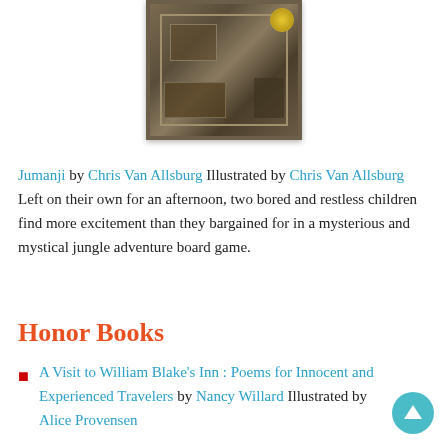[Figure (illustration): Book cover of Jumanji by Chris Van Allsburg, showing a dark sepia-toned interior scene with a gold medal in the top right corner]
Jumanji by Chris Van Allsburg Illustrated by Chris Van Allsburg Left on their own for an afternoon, two bored and restless children find more excitement than they bargained for in a mysterious and mystical jungle adventure board game.
Honor Books
A Visit to William Blake's Inn : Poems for Innocent and Experienced Travelers by Nancy Willard Illustrated by Alice Provensen